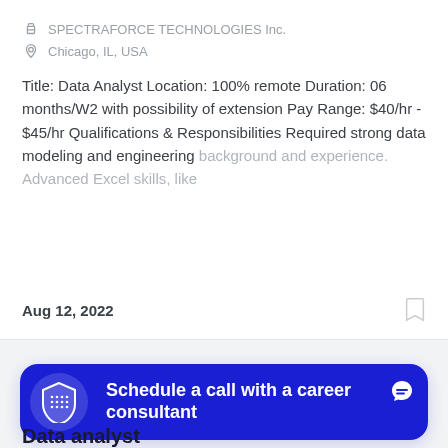SPECTRAFORCE TECHNOLOGIES Inc.
Chicago, IL, USA
Title: Data Analyst Location: 100% remote Duration: 06 months/W2 with possibility of extension Pay Range: $40/hr - $45/hr Qualifications & Responsibilities Required strong data modeling and engineering background and experience. Advanced Excel skills, like
Aug 12, 2022
Schedule a call with a career consultant
Data analyst